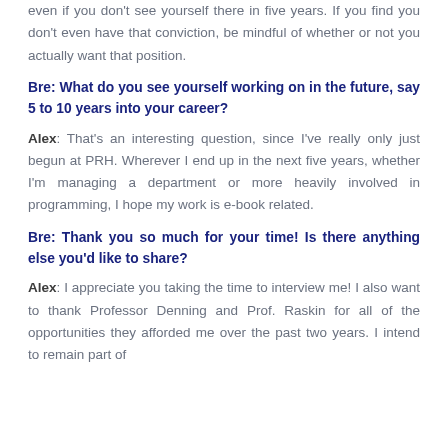even if you don't see yourself there in five years. If you find you don't even have that conviction, be mindful of whether or not you actually want that position.
Bre: What do you see yourself working on in the future, say 5 to 10 years into your career?
Alex: That's an interesting question, since I've really only just begun at PRH. Wherever I end up in the next five years, whether I'm managing a department or more heavily involved in programming, I hope my work is e-book related.
Bre: Thank you so much for your time! Is there anything else you'd like to share?
Alex: I appreciate you taking the time to interview me! I also want to thank Professor Denning and Prof. Raskin for all of the opportunities they afforded me over the past two years. I intend to remain part of